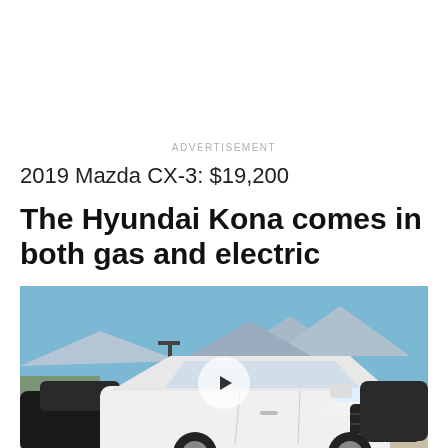ADVERTISEMENT
2019 Mazda CX-3: $19,200
The Hyundai Kona comes in both gas and electric
[Figure (photo): White Hyundai Kona SUV parked in a lot with mountains and blue sky in the background. A video play button overlay is visible in the center of the image.]